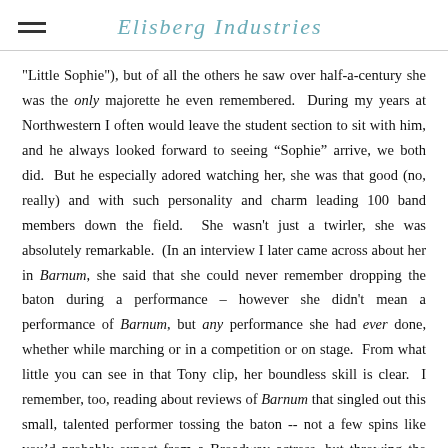Elisberg Industries
"Little Sophie"), but of all the others he saw over half-a-century she was the only majorette he even remembered.  During my years at Northwestern I often would leave the student section to sit with him, and he always looked forward to seeing “Sophie” arrive, we both did.  But he especially adored watching her, she was that good (no, really) and with such personality and charm leading 100 band members down the field.  She wasn't just a twirler, she was absolutely remarkable.  (In an interview I later came across about her in Barnum, she said that she could never remember dropping the baton during a performance – however she didn't mean a performance of Barnum, but any performance she had ever done, whether while marching or in a competition or on stage.  From what little you can see in that Tony clip, her boundless skill is clear.  I remember, too, reading about reviews of Barnum that singled out this small, talented performer tossing the baton -- not a few spins like you’d probably expect from a Broadway actress, but throwing the baton high above the